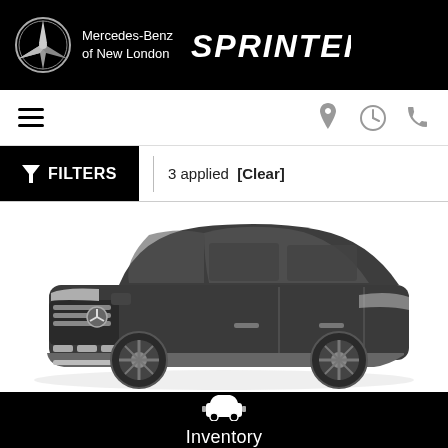Mercedes-Benz of New London — SPRINTER
[Figure (screenshot): Navigation bar with hamburger menu and location, clock, phone icons]
FILTERS  |  3 applied  [Clear]
[Figure (photo): Dark gray Mercedes-Benz GLC SUV shown in a 3/4 front angle view on white background]
Inventory